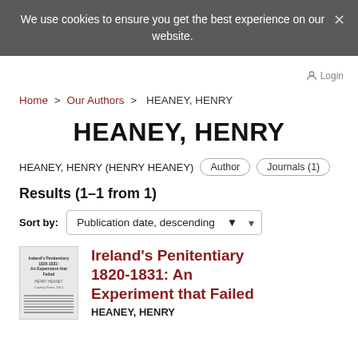We use cookies to ensure you get the best experience on our website.
Home > Our Authors > HEANEY, HENRY
HEANEY, HENRY
HEANEY, HENRY (HENRY HEANEY)   Author   Journals (1)
Results (1–1 from 1)
Sort by: Publication date, descending
[Figure (illustration): Thumbnail of book cover for Ireland's Penitentiary 1820-1831: An Experiment that Failed]
Ireland's Penitentiary 1820-1831: An Experiment that Failed
HEANEY, HENRY